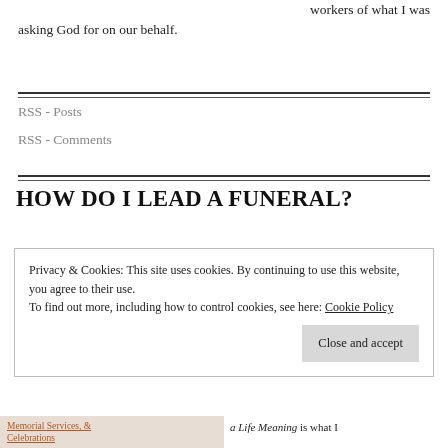workers of what I was asking God for on our behalf.
RSS - Posts
RSS - Comments
HOW DO I LEAD A FUNERAL?
Privacy & Cookies: This site uses cookies. By continuing to use this website, you agree to their use.
To find out more, including how to control cookies, see here: Cookie Policy
Close and accept
Memorial Services, & Celebrations
a Life Meaning is what I